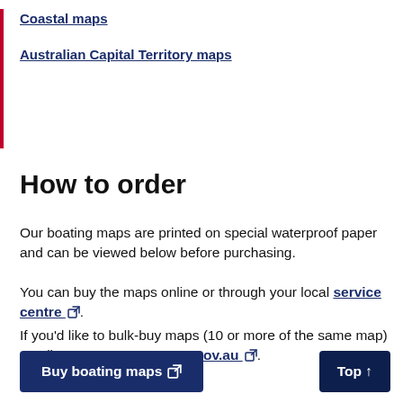Coastal maps
Australian Capital Territory maps
How to order
Our boating maps are printed on special waterproof paper and can be viewed below before purchasing.
You can buy the maps online or through your local service centre.
If you'd like to bulk-buy maps (10 or more of the same map) email mps@transport.nsw.gov.au.
Buy boating maps
Top ↑